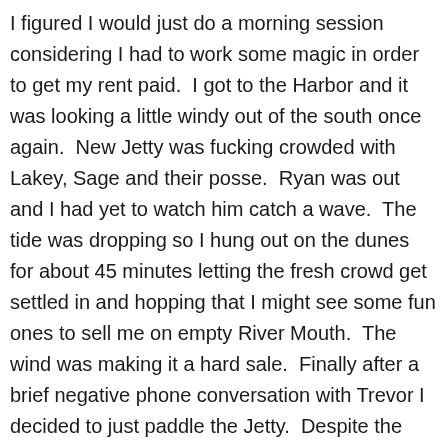I figured I would just do a morning session considering I had to work some magic in order to get my rent paid.  I got to the Harbor and it was looking a little windy out of the south once again.  New Jetty was fucking crowded with Lakey, Sage and their posse.  Ryan was out and I had yet to watch him catch a wave.  The tide was dropping so I hung out on the dunes for about 45 minutes letting the fresh crowd get settled in and hopping that I might see some fun ones to sell me on empty River Mouth.  The wind was making it a hard sale.  Finally after a brief negative phone conversation with Trevor I decided to just paddle the Jetty.  Despite the crowd there were plenty of waves to ride although things were rather weak and for whatever reason I could not get a turn off I liked.  Then the wind got really hard and the crowd bailed leaving just Trevor, myself, Gordo, and Robbie out the back.  Half an